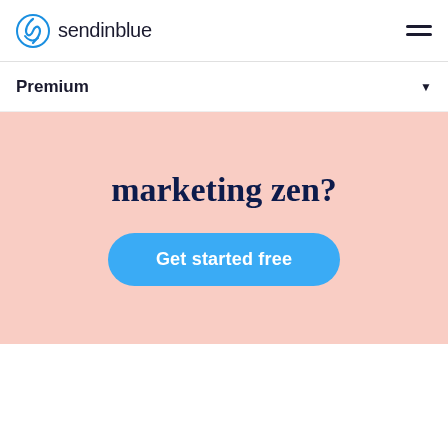sendinblue
Premium
marketing zen?
Get started free